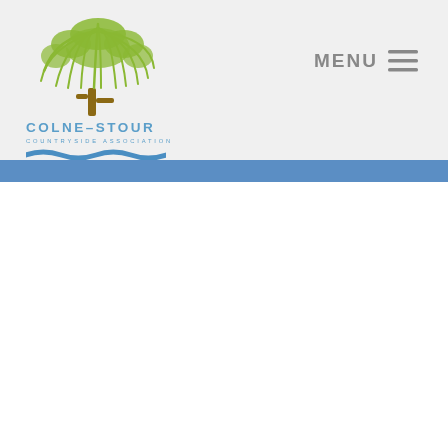[Figure (logo): Colne-Stour Countryside Association logo with a green willow tree illustration, the text COLNE-STOUR in blue bold letters, COUNTRYSIDE ASSOCIATION in smaller blue letters below, and blue wavy lines representing water beneath the text.]
MENU ≡